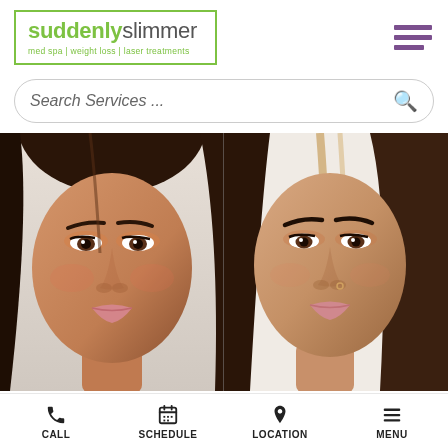[Figure (logo): Suddenly Slimmer med spa logo with green border — 'suddenly' in green bold, 'slimmer' in light gray; tagline 'med spa | weight loss | laser treatments' in green below]
[Figure (other): Hamburger menu icon with three purple horizontal bars]
Search Services ...
[Figure (photo): Before and after side-by-side photo of a young woman's face showing cosmetic treatment results — both images show close-up facial portraits with brown eyes and hair, natural makeup, slight differences in complexion and eyebrow appearance]
CALL | SCHEDULE | LOCATION | MENU